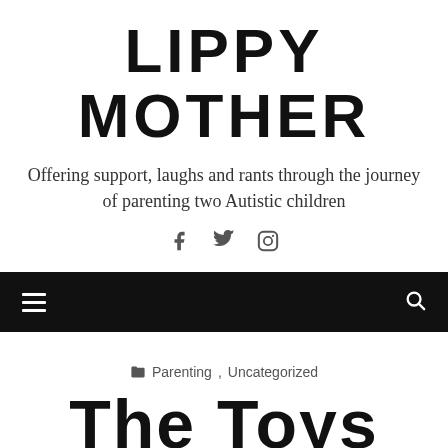LIPPY MOTHER
Offering support, laughs and rants through the journey of parenting two Autistic children
[Figure (other): Social media icons: Facebook (f), Twitter (bird), Instagram (camera)]
Navigation bar with hamburger menu and search icon
Parenting, Uncategorized
The Toys They...